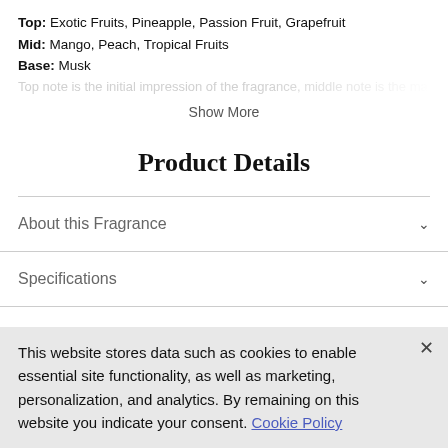Top: Exotic Fruits, Pineapple, Passion Fruit, Grapefruit
Mid: Mango, Peach, Tropical Fruits
Base: Musk
Top note is the initial impression of the fragrance, middle note is the main...
Show More
Product Details
About this Fragrance
Specifications
Description
This website stores data such as cookies to enable essential site functionality, as well as marketing, personalization, and analytics. By remaining on this website you indicate your consent. Cookie Policy